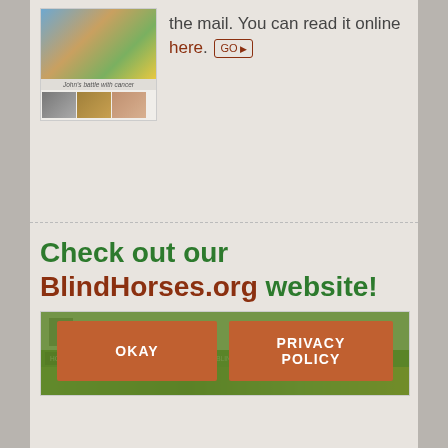[Figure (screenshot): Newsletter thumbnail with colorful bowl image and three smaller thumbnail images below, with caption 'John's battle with cancer']
the mail. You can read it online here. GO
Check out our BlindHorses.org website!
[Figure (screenshot): Screenshot of BlindHorses.org website showing logo, navigation bar with Home, About Us, Famous Blind Horses, Blind Horse Website, Resources, Contact, and a green banner image]
We use cookies to ensure that we give you the best experience on our website. If you continue to use this site we will assume that you understand this.
OKAY
PRIVACY POLICY